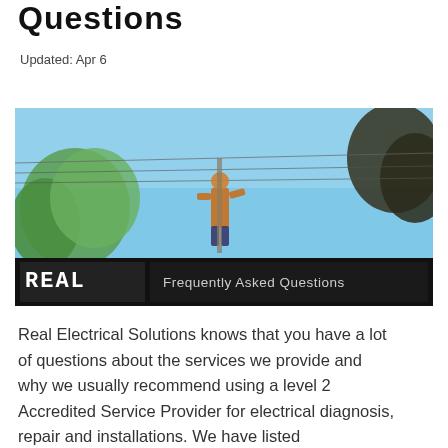Questions
Updated: Apr 6
[Figure (photo): An electrician working on power lines with a blue sky background and trees. A dark banner at the bottom shows a logo on the left and 'Frequently Asked Questions' text on the right.]
Real Electrical Solutions knows that you have a lot of questions about the services we provide and why we usually recommend using a level 2 Accredited Service Provider for electrical diagnosis, repair and installations. We have listed